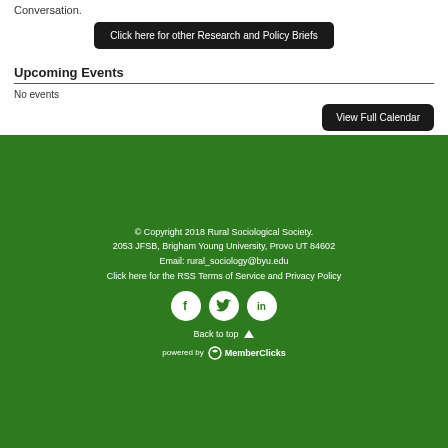Conversation.
Click here for other Research and Policy Briefs
Upcoming Events
No events
View Full Calendar
© Copyright 2018 Rural Sociological Society. 2053 JFSB, Brigham Young University, Provo UT 84602 Email: rural_sociology@byu.edu Click here for the RSS Terms of Service and Privacy Policy
[Figure (infographic): Social media icons: Facebook, Twitter, LinkedIn in white circles on green background]
Back to top
powered by MemberClicks